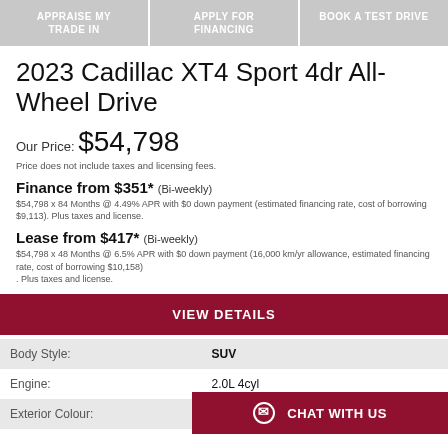APPRAISE MY TRADE IN | APPLY FOR FINANCING | BOOK A TEST DRIVE
2023 Cadillac XT4 Sport 4dr All-Wheel Drive
Our Price: $54,798
Price does not include taxes and licensing fees.
Finance from $351* (Bi-weekly)
$54,798 x 84 Months @ 4.49% APR with $0 down payment (estimated financing rate, cost of borrowing $9,113). Plus taxes and license.
Lease from $417* (Bi-weekly)
$54,798 x 48 Months @ 6.5% APR with $0 down payment (16,000 km/yr allowance, estimated financing rate, cost of borrowing $10,158) . Plus taxes and license.
VIEW DETAILS
|  |  |
| --- | --- |
| Body Style: | SUV |
| Engine: | 2.0L 4cyl |
| Exterior Colour: |  |
CHAT WITH US